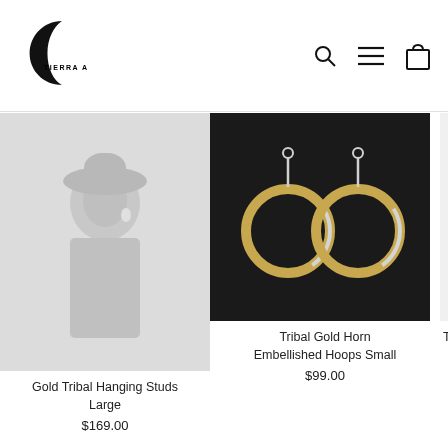[Figure (logo): Tierra Alma crescent moon logo with brand name text]
[Figure (photo): Icon buttons: search magnifier, hamburger menu, shopping bag]
[Figure (photo): Model wearing Gold Tribal Hanging Studs Large, faded light grey background]
Gold Tribal Hanging Studs Large
$169.00
[Figure (photo): Tribal Gold Horn Embellished Hoops Small on dark background]
Tribal Gold Horn Embellished Hoops Small
$99.00
The High Tea
$165.00
Save $